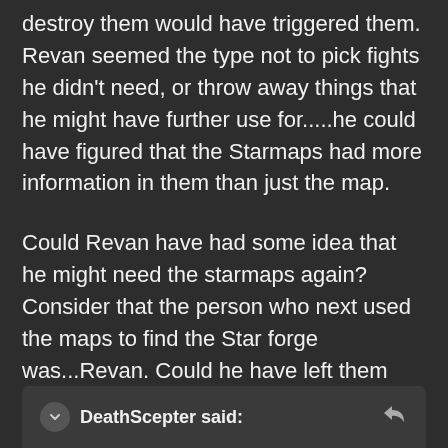destroy them would have triggered them. Revan seemed the type not to pick fights he didn't need, or throw away things that he might have further use for.....he could have figured that the Starmaps had more information in them than just the map.
Could Revan have had some idea that he might need the starmaps again? Consider that the person who next used the maps to find the Star forge was...Revan. Could he have left them intact because he had some idea he'd have to find the Starforge again?
DeathScepter said: